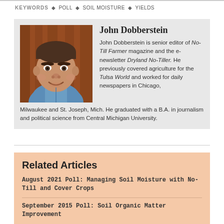KEYWORDS  ♦ POLL  ♦ SOIL MOISTURE  ♦ YIELDS
[Figure (photo): Headshot of John Dobberstein, a middle-aged man in a blue shirt, smiling, with a reddish-brown wall background.]
John Dobberstein
John Dobberstein is senior editor of No-Till Farmer magazine and the e-newsletter Dryland No-Tiller. He previously covered agriculture for the Tulsa World and worked for daily newspapers in Chicago, Milwaukee and St. Joseph, Mich. He graduated with a B.A. in journalism and political science from Central Michigan University.
Related Articles
August 2021 Poll: Managing Soil Moisture with No-Till and Cover Crops
September 2015 Poll: Soil Organic Matter Improvement